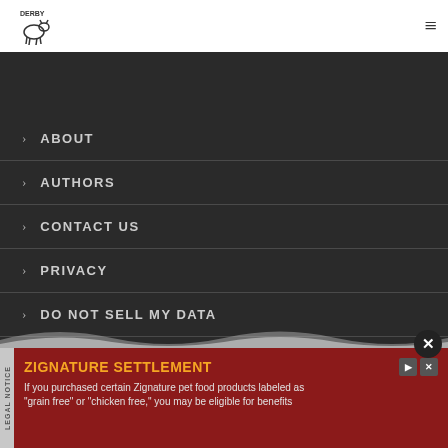Derby [logo with cow] navigation menu
ABOUT
AUTHORS
CONTACT US
PRIVACY
DO NOT SELL MY DATA
a proud member of
[Figure (other): Advertisement: ZIGNATURE SETTLEMENT - If you purchased certain Zignature pet food products labeled as "grain free" or "chicken free," you may be eligible for benefits]